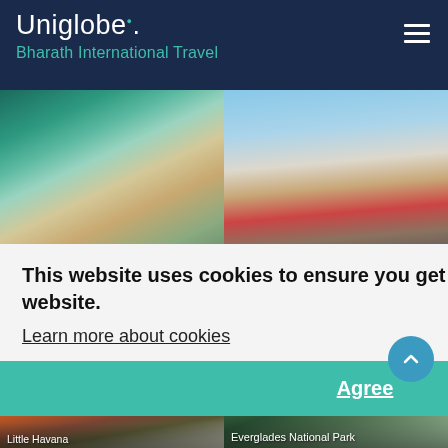Uniglobe. Bharath International Travel
[Figure (photo): Aerial view of South Beach, Miami with turquoise water, sandy beach and city buildings]
South Beach
[Figure (photo): Street view of The Art Deco Historic District with colorful buildings and palm trees]
The Art Deco Historic District
Cavalieri/Shutterstock.com
This website uses cookies to ensure you get the best experience on our website.
Learn more about cookies
Agree
[Figure (photo): Little Havana street scene with historic buildings]
Little Havana
[Figure (photo): Everglades National Park with tall trees and water]
Everglades National Park